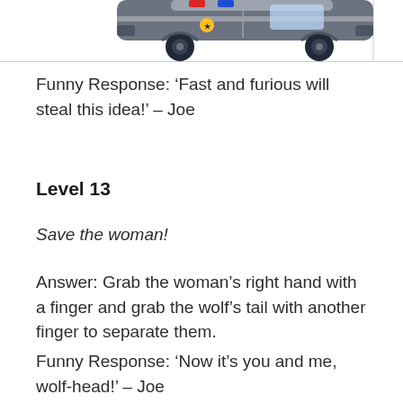[Figure (illustration): Partial view of an illustrated police car (cartoon style) visible at the top of the page, cropped at the bottom.]
Funny Response: ‘Fast and furious will steal this idea!’ – Joe
Level 13
Save the woman!
Answer: Grab the woman’s right hand with a finger and grab the wolf’s tail with another finger to separate them.
Funny Response: ‘Now it’s you and me, wolf-head!’ – Joe